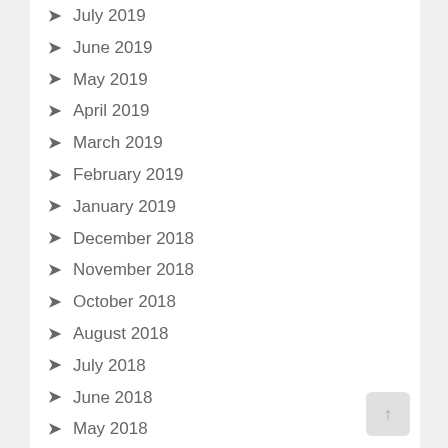July 2019
June 2019
May 2019
April 2019
March 2019
February 2019
January 2019
December 2018
November 2018
October 2018
August 2018
July 2018
June 2018
May 2018
April 2018
March 2018